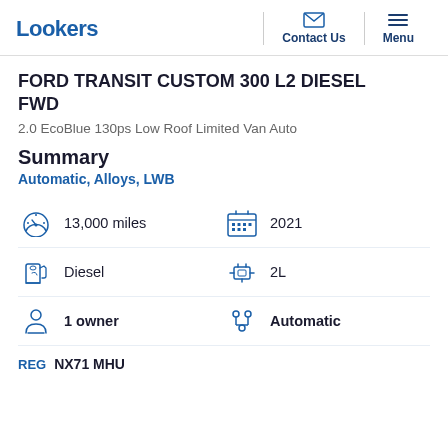Lookers | Contact Us | Menu
FORD TRANSIT CUSTOM 300 L2 DIESEL FWD
2.0 EcoBlue 130ps Low Roof Limited Van Auto
Summary
Automatic, Alloys, LWB
13,000 miles
2021
Diesel
2L
1 owner
Automatic
REG NX71 MHU